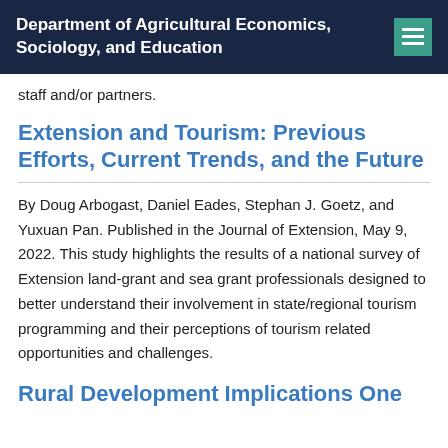Department of Agricultural Economics, Sociology, and Education
staff and/or partners.
Extension and Tourism: Previous Efforts, Current Trends, and the Future
By Doug Arbogast, Daniel Eades, Stephan J. Goetz, and Yuxuan Pan. Published in the Journal of Extension, May 9, 2022. This study highlights the results of a national survey of Extension land-grant and sea grant professionals designed to better understand their involvement in state/regional tourism programming and their perceptions of tourism related opportunities and challenges.
Rural Development Implications One